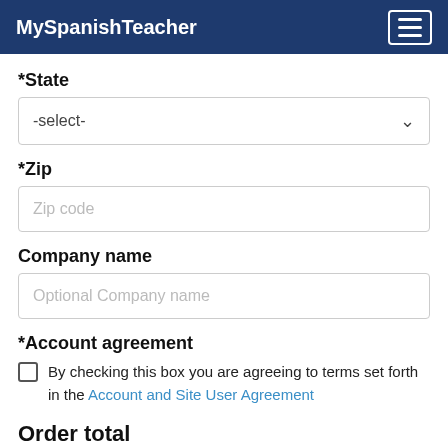MySpanishTeacher
*State
-select-
*Zip
Zip code
Company name
Optional Company name
*Account agreement
By checking this box you are agreeing to terms set forth in the Account and Site User Agreement
Order total
$129.00